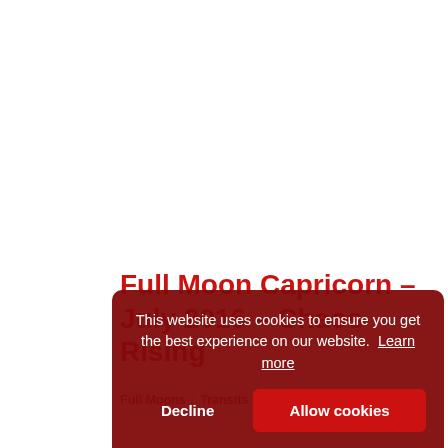Full Moon Capricorn – July 2016 – Chaos Rising
Full Moons / Transits  July 21, 2016
This website uses cookies to ensure you get the best experience on our website. Learn more
Decline  Allow cookies